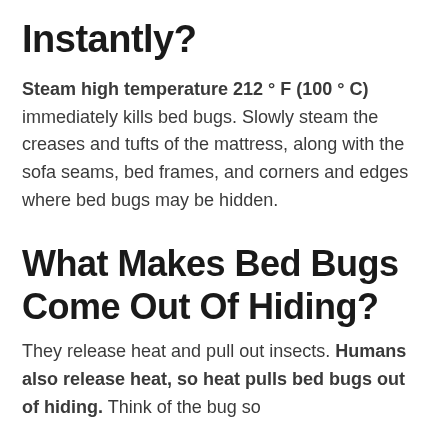Instantly?
Steam high temperature 212 ° F (100 ° C) immediately kills bed bugs. Slowly steam the creases and tufts of the mattress, along with the sofa seams, bed frames, and corners and edges where bed bugs may be hidden.
What Makes Bed Bugs Come Out Of Hiding?
They release heat and pull out insects. Humans also release heat, so heat pulls bed bugs out of hiding. Think of the bug so